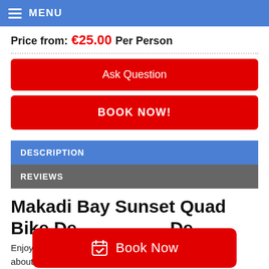MENU
Price from: €25.00 Per Person
Ask Question
BOOK NOW!
DESCRIPTION
REVIEWS
Makadi Bay Sunset Quad Bike Desert Safari
Enjoy about their life and traditions, Witness the amazing
Book Now